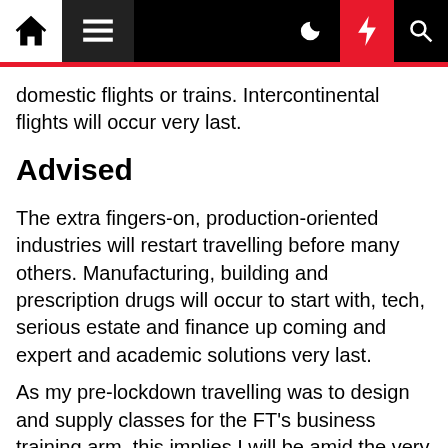Navigation bar with home, menu, moon, bolt, and search icons
domestic flights or trains. Intercontinental flights will occur very last.
Advised
The extra fingers-on, production-oriented industries will restart travelling before many others. Manufacturing, building and prescription drugs will occur to start with, tech, serious estate and finance up coming and expert and academic solutions very last.
As my pre-lockdown travelling was to design and supply classes for the FT's business training arm, this implies I will be amid the very last to just take to the air. But, as the McKinsey paper factors out, it relies